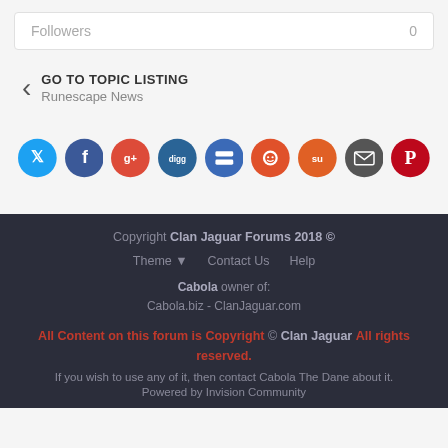| Followers | 0 |
| --- | --- |
GO TO TOPIC LISTING
Runescape News
[Figure (other): Row of social sharing icons: Twitter (blue), Facebook (dark blue), Google+ (red), Digg (dark blue), Delicious (blue), Reddit (orange-red), StumbleUpon (orange), Email (dark gray), Pinterest (dark red)]
Copyright Clan Jaguar Forums 2018 ©
Theme ▾   Contact Us   Help
Cabola owner of:
Cabola.biz - ClanJaguar.com
All Content on this forum is Copyright © Clan Jaguar All rights reserved.
If you wish to use any of it, then contact Cabola The Dane about it.
Powered by Invision Community